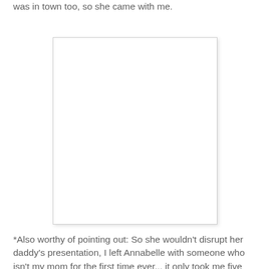was in town too, so she came with me.
[Figure (photo): A white/blank rectangular photo placeholder with light border and shadow]
*Also worthy of pointing out: So she wouldn't disrupt her daddy's presentation, I left Annabelle with someone who isn't my mom for the first time ever... it only took me five months! Haha! Thanks again, Megan! We will miss you when we move.